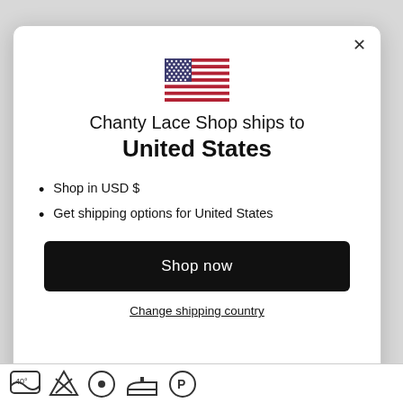[Figure (illustration): US flag emoji icon]
Chanty Lace Shop ships to United States
Shop in USD $
Get shipping options for United States
Shop now
Change shipping country
[Figure (illustration): Laundry care symbols: wash at 40 degrees, no bleach, tumble dry, iron, dry clean P]